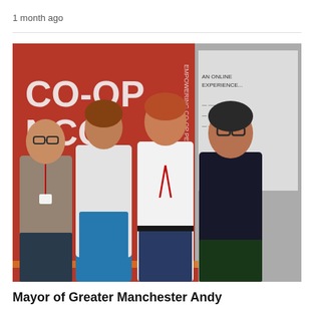1 month ago
[Figure (photo): Four people standing together smiling in front of a red Co-op banner background. From left: a bald man with glasses wearing a checked shirt and lanyard, a woman in a white blazer over blue dress, a young man in a white shirt with red lanyard, and a man in a black shirt with glasses.]
Mayor of Greater Manchester Andy